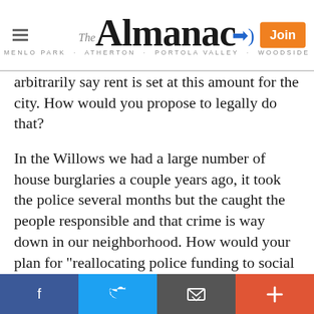The Almanac — MENLO PARK · ATHERTON · PORTOLA VALLEY · WOODSIDE
arbitrarily say rent is set at this amount for the city. How would you propose to legally do that?
In the Willows we had a large number of house burglaries a couple years ago, it took the police several months but the caught the people responsible and that crime is way down in our neighborhood. How would your plan for "reallocating police funding to social service community programs and instituting a monthly mandatory training for police officers" affect the crime rate in the city and the police ability to respond to and investigate crimes?
For the record, I am not black but I have been stopped by the Menlo Park and Atherton Police over the years for
Facebook  Twitter  Email  +